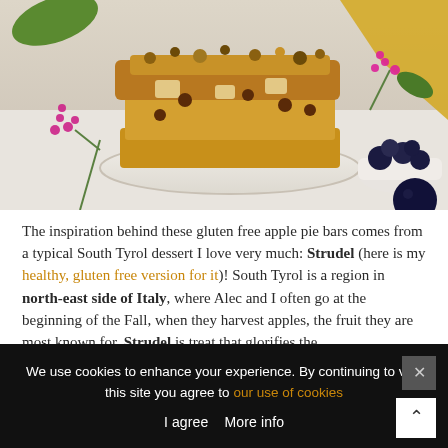[Figure (photo): Stacked apple pie bars with crumble topping on a decorative plate, surrounded by autumn berries, blueberries in a bowl, and colorful leaves on a white wooden surface.]
The inspiration behind these gluten free apple pie bars comes from a typical South Tyrol dessert I love very much: Strudel (here is my healthy, gluten free version for it)! South Tyrol is a region in north-east side of Italy, where Alec and I often go at the beginning of the Fall, when they harvest apples, the fruit they are most known for. Strudel is treat that glorifies the
We use cookies to enhance your experience. By continuing to visit this site you agree to our use of cookies
I agree   More info